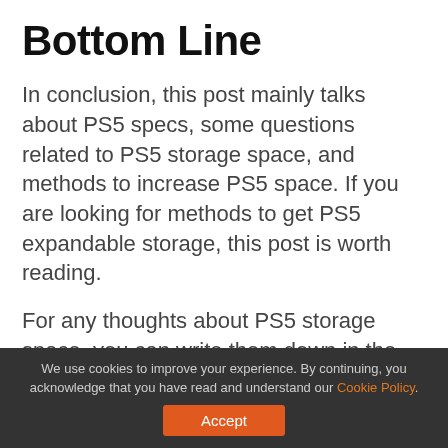Bottom Line
In conclusion, this post mainly talks about PS5 specs, some questions related to PS5 storage space, and methods to increase PS5 space. If you are looking for methods to get PS5 expandable storage, this post is worth reading.
For any thoughts about PS5 storage space, you can write them down in the following comment area for sharing. If you have any issues or difficulties while formatting the hard drive with MiniTool Partition Wizard, directly send us an email via
We use cookies to improve your experience. By continuing, you acknowledge that you have read and understand our Cookie Policy. Accept